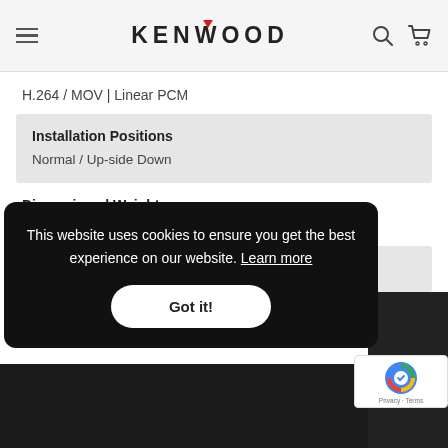KENWOOD
H.264 / MOV | Linear PCM
Installation Positions
Normal / Up-side Down
Dimensions | Weight
63 x 66 x 36 mm / 334 g (Camera only)
Warranty Dashcam & Rear Camera
This website uses cookies to ensure you get the best experience on our website. Learn more
Got it!